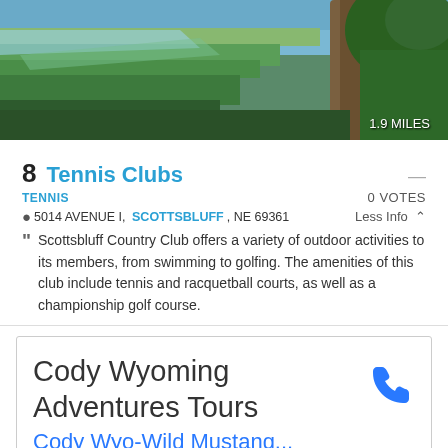[Figure (photo): Outdoor landscape photo showing green fields, trees and blue sky with '1.9 MILES' badge in bottom right]
8  Tennis Clubs
TENNIS   0 VOTES
5014 AVENUE I, SCOTTSBLUFF, NE 69361   Less Info
Scottsbluff Country Club offers a variety of outdoor activities to its members, from swimming to golfing. The amenities of this club include tennis and racquetball courts, as well as a championship golf course.
[Figure (screenshot): Advertisement box for Cody Wyoming Adventures Tours with phone icon and link text 'Cody Wyo-Wild Mustang...']